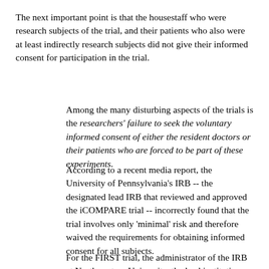The next important point is that the housestaff who were research subjects of the trial, and their patients who also were at least indirectly research subjects did not give their informed consent for participation in the trial.
Among the many disturbing aspects of the trials is the researchers' failure to seek the voluntary informed consent of either the resident doctors or their patients who are forced to be part of these experiments.
According to a recent media report, the University of Pennsylvania's IRB -- the designated lead IRB that reviewed and approved the iCOMPARE trial -- incorrectly found that the trial involves only 'minimal' risk and therefore waived the requirements for obtaining informed consent for all subjects.
For the FIRST trial, the administrator of the IRB at Northwestern University, the lead institution for